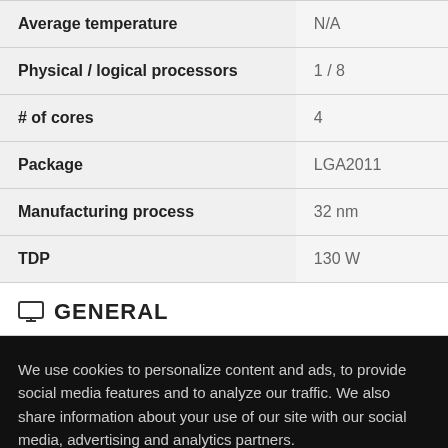| Property | Value |
| --- | --- |
| Average temperature | N/A |
| Physical / logical processors | 1 / 8 |
| # of cores | 4 |
| Package | LGA2011 |
| Manufacturing process | 32 nm |
| TDP | 130 W |
GENERAL
We use cookies to personalize content and ads, to provide social media features and to analyze our traffic. We also share information about your use of our site with our social media, advertising and analytics partners.